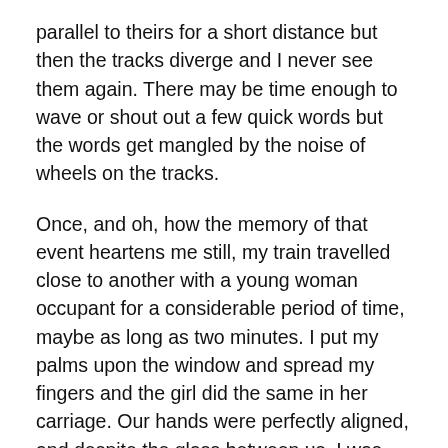parallel to theirs for a short distance but then the tracks diverge and I never see them again. There may be time enough to wave or shout out a few quick words but the words get mangled by the noise of wheels on the tracks.
Once, and oh, how the memory of that event heartens me still, my train travelled close to another with a young woman occupant for a considerable period of time, maybe as long as two minutes. I put my palms upon the window and spread my fingers and the girl did the same in her carriage. Our hands were perfectly aligned, and despite the glass between us, I was sure that I could feel her body warmth.
I can not jettison my dream that I will see her again, that our trains will run side by side forever and we will never be apart. In every train that I see, I continue to search out for her sublime features, yet at the same time I am